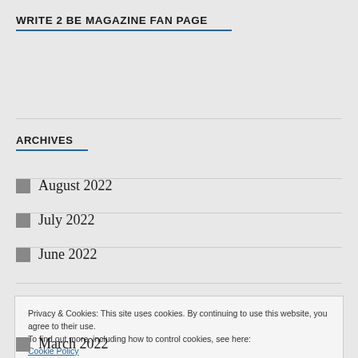WRITE 2 BE MAGAZINE FAN PAGE
ARCHIVES
August 2022
July 2022
June 2022
Privacy & Cookies: This site uses cookies. By continuing to use this website, you agree to their use.
To find out more, including how to control cookies, see here: Cookie Policy
March 2022